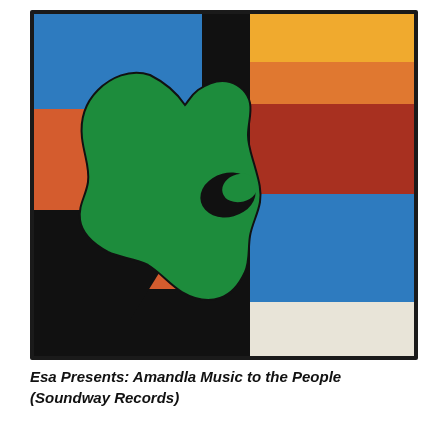[Figure (illustration): Album cover art for 'Esa Presents: Amandla Music to the People' on Soundway Records. Geometric abstract composition with a black background divided into colored rectangular sections: blue top-left, orange/rust left-center, yellow top-right, orange right-upper, dark red right-middle, blue right-lower, cream/off-white bottom-right rectangle. A large organic green blob shape (resembling a map of Africa) overlaps the center, with a dark hole/void shape within it.]
Esa Presents: Amandla Music to the People (Soundway Records)